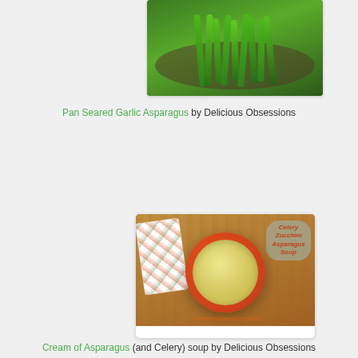[Figure (photo): Photo of pan seared garlic asparagus in a skillet, showing green asparagus stalks]
Pan Seared Garlic Asparagus by Delicious Obsessions
[Figure (photo): Photo of Celery Zucchini Asparagus Soup in an orange bowl on a cutting board with a floral napkin. Text overlay says 'Celery Zucchini Asparagus Soup'. Watermark reads '© deliciousobsessions.com']
Cream of Asparagus (and Celery) soup by Delicious Obsessions